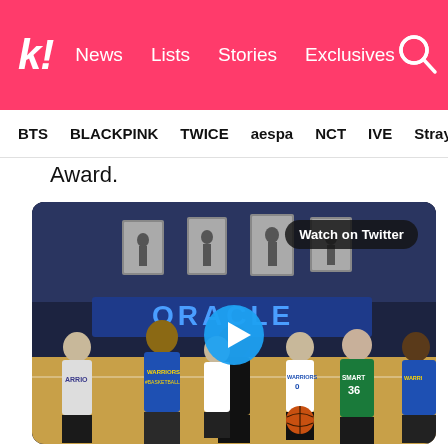Koreaboo | Navigation: News, Lists, Stories, Exclusives | BTS, BLACKPINK, TWICE, aespa, NCT, IVE, Stray
Award.
[Figure (photo): Video thumbnail of Golden State Warriors basketball players standing in a circle on a practice court, with an ORACLE banner visible in the background. Historic black-and-white basketball photos hang on the wall. Player #36 SMART is visible in a green jersey. A blue play button is centered on the video. A 'Watch on Twitter' badge is in the top right corner.]